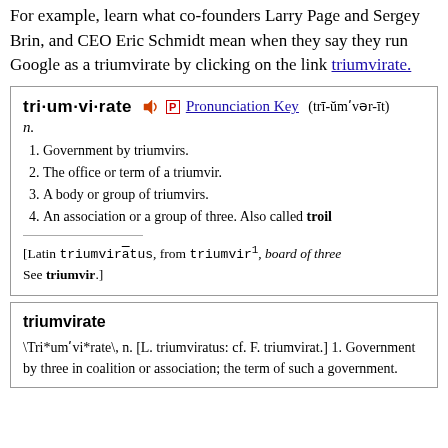For example, learn what co-founders Larry Page and Sergey Brin, and CEO Eric Schmidt mean when they say they run Google as a triumvirate by clicking on the link triumvirate.
triumvirate [pronunciation key icon] [P] Pronunciation Key (tr&#x012B;-&#x016D;m&#x02B9;v&#x0259;r-&#x012B;t) n.
1. Government by triumvirs.
2. The office or term of a triumvir.
3. A body or group of triumvirs.
4. An association or a group of three. Also called troil
[Latin triumvirātus, from triumvir1, board of three See triumvir.]
triumvirate
\Tri*um'vi*rate\, n. [L. triumviratus: cf. F. triumvirat.] 1. Government by three in coalition or association; the term of such a government.